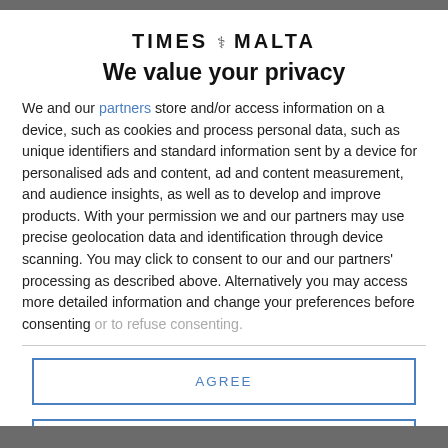[Figure (logo): Times of Malta logo with emblem icon between TIMES and MALTA text]
We value your privacy
We and our partners store and/or access information on a device, such as cookies and process personal data, such as unique identifiers and standard information sent by a device for personalised ads and content, ad and content measurement, and audience insights, as well as to develop and improve products. With your permission we and our partners may use precise geolocation data and identification through device scanning. You may click to consent to our and our partners' processing as described above. Alternatively you may access more detailed information and change your preferences before consenting or to refuse consenting.
AGREE
MORE OPTIONS